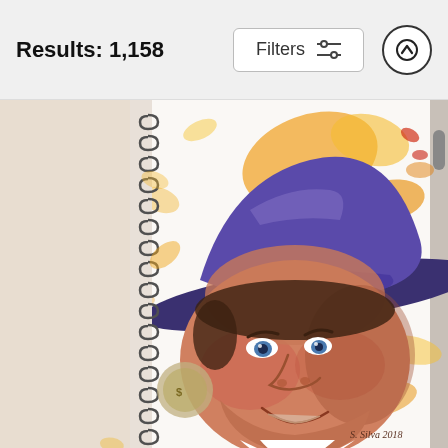Results: 1,158
[Figure (illustration): Screenshot of a shopping/search results page showing a spiral-bound notebook with a watercolor portrait painting of a man wearing a blue/purple fedora hat, with an orange and yellow abstract background splash. The painting is signed 'S. Silva 2018'. The page header shows 'Results: 1,158' with a Filters button and a scroll-up arrow button.]